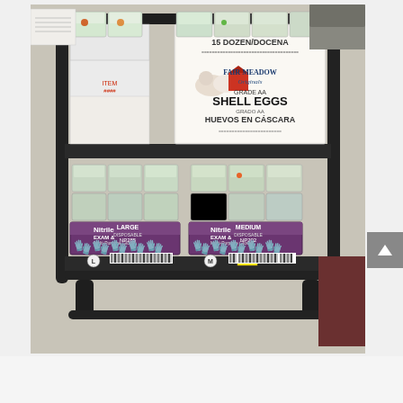[Figure (photo): A black utility cart with two shelves loaded with food prep containers, a box of Fair Meadow Original Grade AA Shell Eggs (15 Dozen/Docena), white boxes, and two boxes of Nitrile Exam Multi-Purpose Gloves (Large NP285 and Medium NP202), photographed from above on a concrete floor.]